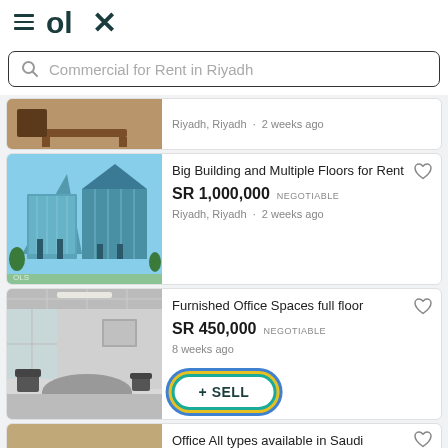OLX
Commercial for Rent in Riyadh
Riyadh, Riyadh · 2 weeks ago
Big Building and Multiple Floors for Rent
SR 1,000,000 NEGOTIABLE
Riyadh, Riyadh · 2 weeks ago
Furnished Office Spaces full floor
SR 450,000 NEGOTIABLE
8 weeks ago
+ SELL
Office All types available in Saudi